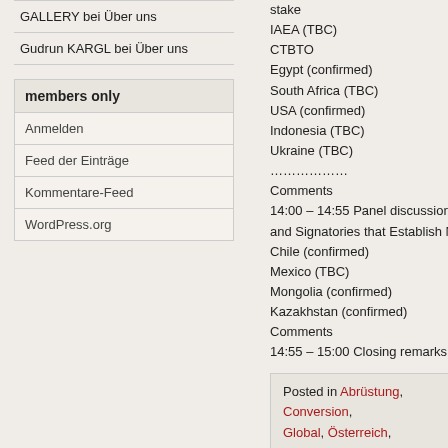GALLERY bei Über uns
Gudrun KARGL bei Über uns
members only
Anmelden
Feed der Einträge
Kommentare-Feed
WordPress.org
stake
IAEA (TBC)
CTBTO
Egypt (confirmed)
South Africa (TBC)
USA (confirmed)
Indonesia (TBC)
Ukraine (TBC)
………………
Comments
14:00 – 14:55 Panel discussion: Pr… and Signatories that Establish Nucl…
Chile (confirmed)
Mexico (TBC)
Mongolia (confirmed)
Kazakhstan (confirmed)
Comments
14:55 – 15:00 Closing remarks by th…
Posted in Abrüstung, Conversion, Global, Österreich, Peacebuilding…
Leave a Comment